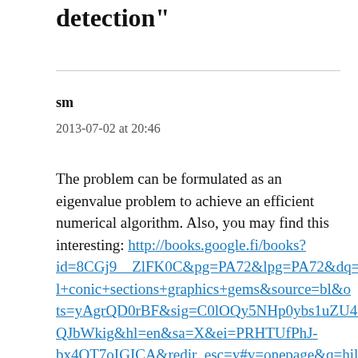detection"
sm
2013-07-02 at 20:46
The problem can be formulated as an eigenvalue problem to achieve an efficient numerical algorithm. Also, you may find this interesting: http://books.google.fi/books?id=8CGj9__ZlFK0C&pg=PA72&lpg=PA72&dq=hill+conic+sections+graphics+gems&source=bl&ots=yAgrQD0rBF&sig=C0lOQy5NHp0ybs1uZU40QJbWkig&hl=en&sa=X&ei=PRHTUfPhJ-bx4QT7oIGICA&redir_esc=y#v=onepage&q=hill%20conic%20sections%20graphics%20gems